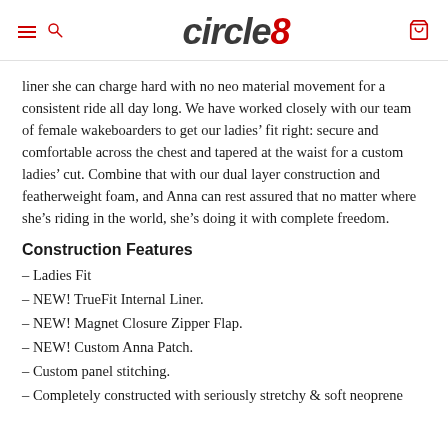circle8
liner she can charge hard with no neo material movement for a consistent ride all day long. We have worked closely with our team of female wakeboarders to get our ladies’ fit right: secure and comfortable across the chest and tapered at the waist for a custom ladies’ cut. Combine that with our dual layer construction and featherweight foam, and Anna can rest assured that no matter where she’s riding in the world, she’s doing it with complete freedom.
Construction Features
– Ladies Fit
– NEW! TrueFit Internal Liner.
– NEW! Magnet Closure Zipper Flap.
– NEW! Custom Anna Patch.
– Custom panel stitching.
– Completely constructed with seriously stretchy & soft neoprene